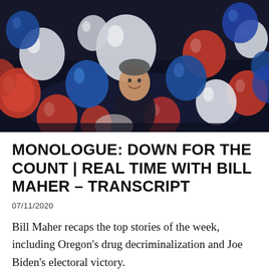[Figure (photo): A man smiling surrounded by red, white, and blue balloons on a dark television studio stage set.]
MONOLOGUE: DOWN FOR THE COUNT | REAL TIME WITH BILL MAHER – TRANSCRIPT
07/11/2020
Bill Maher recaps the top stories of the week, including Oregon's drug decriminalization and Joe Biden's electoral victory.